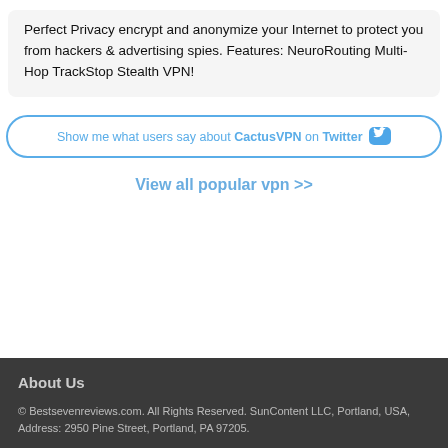Perfect Privacy encrypt and anonymize your Internet to protect you from hackers & advertising spies. Features: NeuroRouting Multi-Hop TrackStop Stealth VPN!
Show me what users say about CactusVPN on Twitter
View all popular vpn >>
About Us
© Bestsevenreviews.com. All Rights Reserved. SunContent LLC, Portland, USA, Address: 2950 Pine Street, Portland, PA 97205.